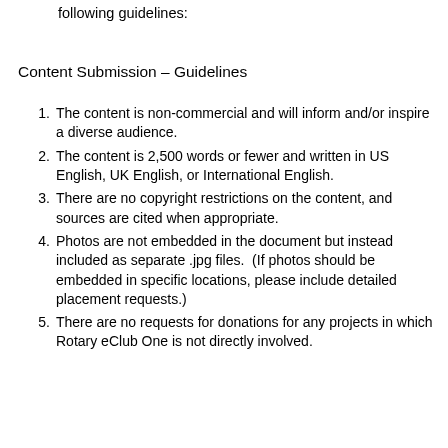following guidelines:
Content Submission – Guidelines
The content is non-commercial and will inform and/or inspire a diverse audience.
The content is 2,500 words or fewer and written in US English, UK English, or International English.
There are no copyright restrictions on the content, and sources are cited when appropriate.
Photos are not embedded in the document but instead included as separate .jpg files.  (If photos should be embedded in specific locations, please include detailed placement requests.)
There are no requests for donations for any projects in which Rotary eClub One is not directly involved.